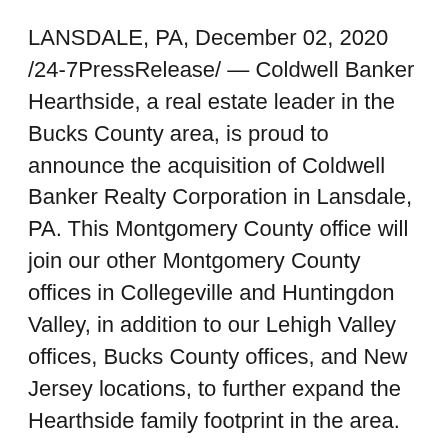LANSDALE, PA, December 02, 2020 /24-7PressRelease/ — Coldwell Banker Hearthside, a real estate leader in the Bucks County area, is proud to announce the acquisition of Coldwell Banker Realty Corporation in Lansdale, PA. This Montgomery County office will join our other Montgomery County offices in Collegeville and Huntingdon Valley, in addition to our Lehigh Valley offices, Bucks County offices, and New Jersey locations, to further expand the Hearthside family footprint in the area.
At Coldwell Banker Hearthside, we invest in our agents through continual training and development programs that keep them apprised of the latest market data and cutting-edge developments within the world of real estate. Through perfecting our process, we can deliver the results clients deserve